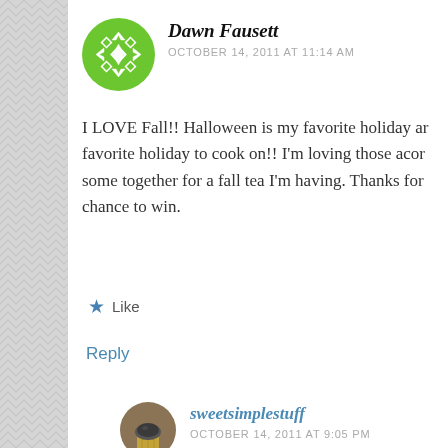[Figure (illustration): Green geometric circular avatar with snowflake/star pattern for user Dawn Fausett]
Dawn Fausett
OCTOBER 14, 2011 AT 11:14 AM
I LOVE Fall!! Halloween is my favorite holiday and my favorite holiday to cook on!! I'm loving those acorn... some together for a fall tea I'm having. Thanks for... chance to win.
★ Like
Reply
[Figure (photo): Small circular avatar showing a cupcake/muffin image for user sweetsimplestuff]
sweetsimplestuff
OCTOBER 14, 2011 AT 9:05 PM
Advertisements
[Figure (other): Close/dismiss button circle with X symbol]